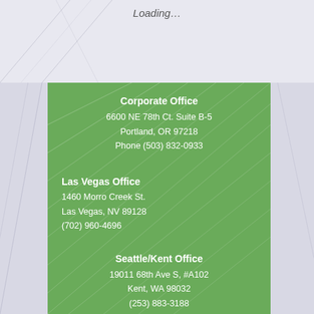Loading…
Corporate Office
6600 NE 78th Ct. Suite B-5
Portland, OR 97218
Phone (503) 832-0933
Las Vegas Office
1460 Morro Creek St.
Las Vegas, NV 89128
(702) 960-4696
Seattle/Kent Office
19011 68th Ave S, #A102
Kent, WA 98032
(253) 883-3188
CCB LICENSE # 210931
Careers